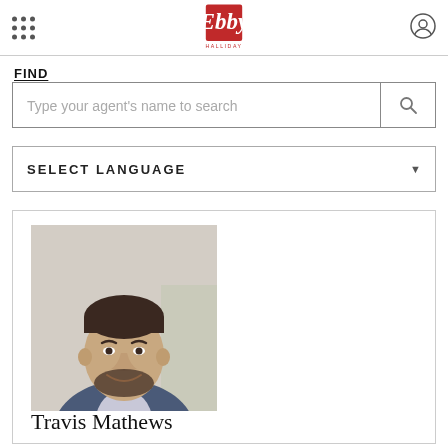Ebby Halliday - navigation header with grid menu icon and user icon
FIND
Type your agent's name to search
SELECT LANGUAGE
[Figure (photo): Professional headshot of Travis Mathews, a man with dark hair and beard wearing a blue blazer, smiling against a light background]
Travis Mathews